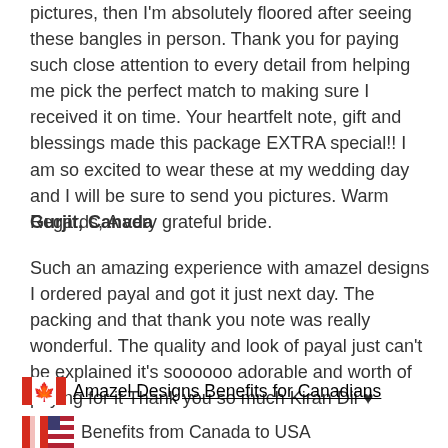pictures, then I'm absolutely floored after seeing these bangles in person. Thank you for paying such close attention to every detail from helping me pick the perfect match to making sure I received it on time. Your heartfelt note, gift and blessings made this package EXTRA special!! I am so excited to wear these at my wedding day and I will be sure to send you pictures. Warm Regards, A very grateful bride.
Gurjit, Canada
Such an amazing experience with amazel designs I ordered payal and got it just next day. The packing and that thank you note was really wonderful. The quality and look of payal just can't be explained it's soooooo adorable and worth of paying for it Thank you so much Kiran Dii ♥
Amazel Designs Benefits for Canadians
Benefits from Canada to USA